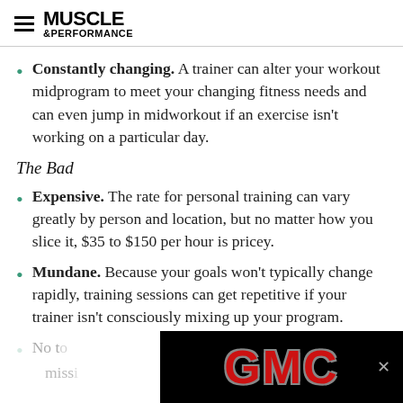MUSCLE &PERFORMANCE
Constantly changing. A trainer can alter your workout midprogram to meet your changing fitness needs and can even jump in midworkout if an exercise isn't working on a particular day.
The Bad
Expensive. The rate for personal training can vary greatly by person and location, but no matter how you slice it, $35 to $150 per hour is pricey.
Mundane. Because your goals won't typically change rapidly, training sessions can get repetitive if your trainer isn't consciously mixing up your program.
[Figure (infographic): GMC advertisement banner overlay at the bottom of the page, black background with red GMC logo text and a close button.]
No t... miss... many (partially obscured by ad)